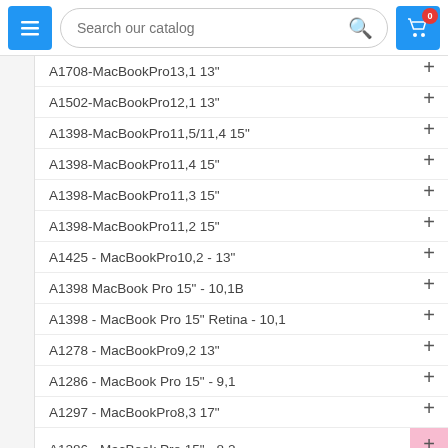[Figure (screenshot): E-commerce website header with hamburger menu button, search bar reading 'Search our catalog', and shopping cart button with badge showing 0]
A1708-MacBookPro13,1 13"
A1502-MacBookPro12,1 13"
A1398-MacBookPro11,5/11,4 15"
A1398-MacBookPro11,4 15"
A1398-MacBookPro11,3 15"
A1398-MacBookPro11,2 15"
A1425 - MacBookPro10,2 - 13"
A1398 MacBook Pro 15" - 10,1B
A1398 - MacBook Pro 15" Retina - 10,1
A1278 - MacBookPro9,2 13"
A1286 - MacBook Pro 15" - 9,1
A1297 - MacBookPro8,3 17"
A1286 - MacBook Pro 15" - 8,2
A1286 - MacBook Pro 15" - 6,2
A1297 - MacBook Pro 17" - 6,1